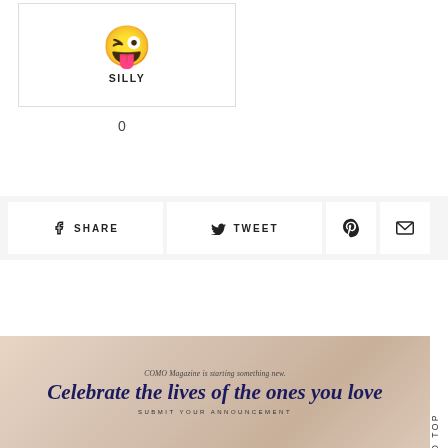[Figure (illustration): Winking face with tongue emoji inside a bordered card, labeled SILLY]
0
SHARE
TWEET
[Figure (illustration): Pinterest icon button]
[Figure (illustration): Email/envelope icon button]
[Figure (illustration): COMO Magazine banner: COMO Magazine is starting something new. Celebrate the lives of the ones you love. SUBMIT YOUR ANNOUNCEMENT]
Scroll To Top